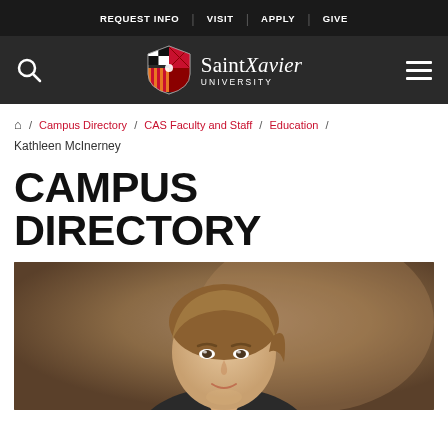REQUEST INFO | VISIT | APPLY | GIVE
[Figure (logo): Saint Xavier University logo with shield/crest and text 'Saint Xavier UNIVERSITY' in white on dark background, with search icon on left and hamburger menu on right]
🏠 / Campus Directory / CAS Faculty and Staff / Education / Kathleen McInerney
CAMPUS DIRECTORY
[Figure (photo): Portrait photo of Kathleen McInerney, a woman with blonde/brown hair, photographed against a warm brown/tan blurred background]